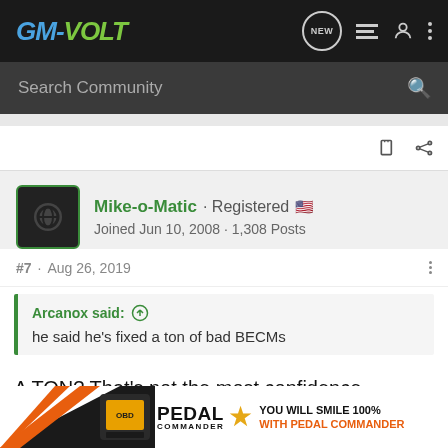GM-VOLT · Search Community
Mike-o-Matic · Registered · Joined Jun 10, 2008 · 1,308 Posts
#7 · Aug 26, 2019
Arcanox said: ↑ he said he's fixed a ton of bad BECMs
A TON? That's not the most confidence-inspiring thing I've heard recently 😀
[Figure (screenshot): Pedal Commander advertisement banner at bottom of page]